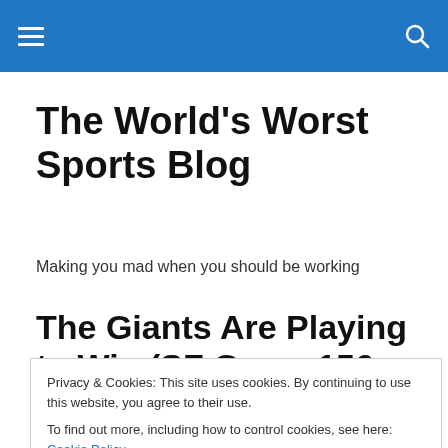The World's Worst Sports Blog
Making you mad when you should be working
The Giants Are Playing to Win (SF Game 156 Recap)
Privacy & Cookies: This site uses cookies. By continuing to use this website, you agree to their use.
To find out more, including how to control cookies, see here: Cookie Policy
Close and accept
Dodgers would need to go 3-3 with the Mets losing every